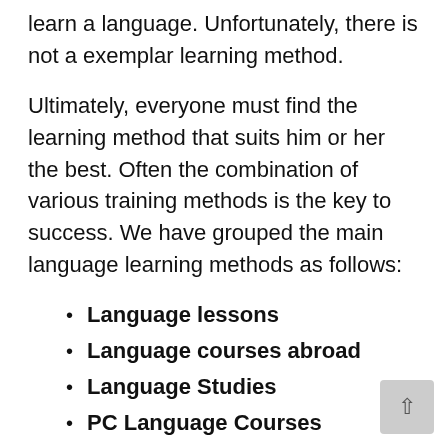learn a language. Unfortunately, there is not a exemplar learning method.
Ultimately, everyone must find the learning method that suits him or her the best. Often the combination of various training methods is the key to success. We have grouped the main language learning methods as follows:
Language lessons
Language courses abroad
Language Studies
PC Language Courses
Online Courses
textbooks with Audio CDs
Media (internet, magazines, TV, radio)